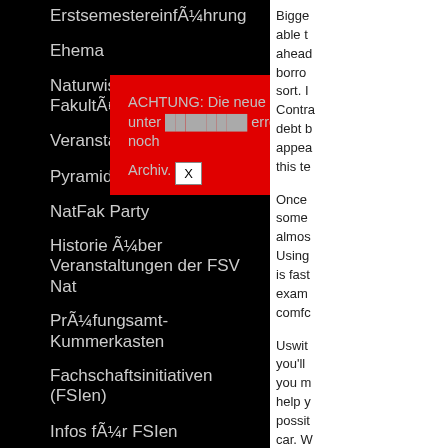Erstsemestereinführung
Ehema...
Naturwisse... Fakultät
[Figure (screenshot): Red notification popup overlay reading: ACHTUNG: Die neue Stuve-Webseite ist unter [link] erreichbar. Hier ist nur noch Archiv. With an X close button.]
Veranstaltungen
Pyramiden Konferenz
NatFak Party
Historie Über Veranstaltungen der FSV Nat
Prüfungsamt-Kummerkasten
Fachschaftsinitiativen (FSIen)
Infos für FSIen
Vernetzungstreffen
Haushaltsmittel
Sitzungen und Protokalle
Bigger able t ahead borrow sort. I Contra debt b appea this te Once some almos Using is fast exam comfo Uswit you'll you m help y possi car. W me pe get th